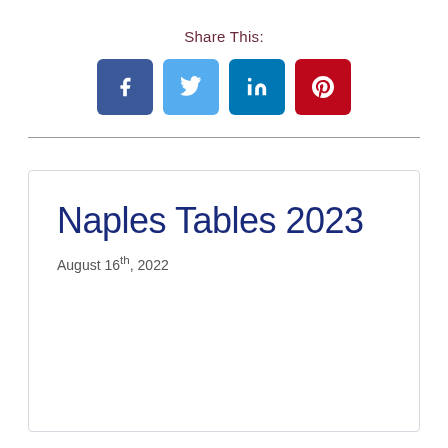Share This:
[Figure (infographic): Social media share buttons: Facebook (blue), Twitter (light blue), LinkedIn (teal), Pinterest (red)]
Naples Tables 2023
August 16th, 2022